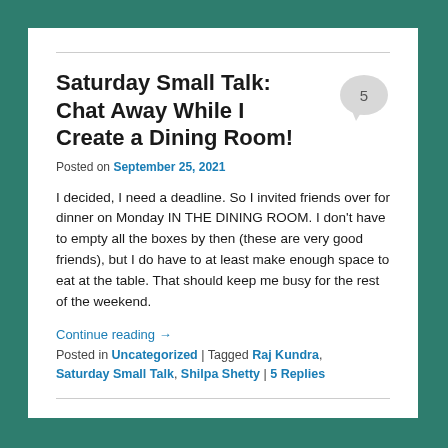Saturday Small Talk: Chat Away While I Create a Dining Room!
Posted on September 25, 2021
I decided, I need a deadline. So I invited friends over for dinner on Monday IN THE DINING ROOM. I don't have to empty all the boxes by then (these are very good friends), but I do have to at least make enough space to eat at the table. That should keep me busy for the rest of the weekend.
Continue reading →
Posted in Uncategorized | Tagged Raj Kundra, Saturday Small Talk, Shilpa Shetty | 5 Replies